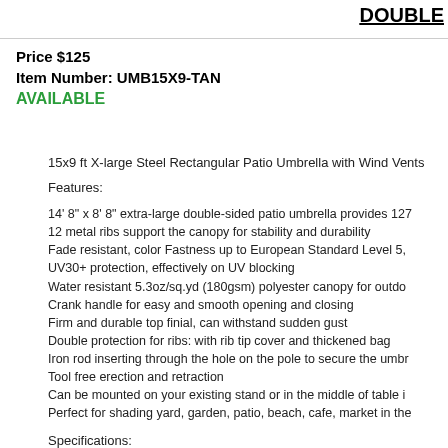DOUBLE
Price $125
Item Number: UMB15X9-TAN
AVAILABLE
15x9 ft X-large Steel Rectangular Patio Umbrella with Wind Vents
Features:
14' 8" x 8' 8" extra-large double-sided patio umbrella provides 127
12 metal ribs support the canopy for stability and durability
Fade resistant, color Fastness up to European Standard Level 5,
UV30+ protection, effectively on UV blocking
Water resistant 5.3oz/sq.yd (180gsm) polyester canopy for outdo
Crank handle for easy and smooth opening and closing
Firm and durable top finial, can withstand sudden gust
Double protection for ribs: with rib tip cover and thickened bag
Iron rod inserting through the hole on the pole to secure the umbr
Tool free erection and retraction
Can be mounted on your existing stand or in the middle of table i
Perfect for shading yard, garden, patio, beach, cafe, market in the
Specifications:
Material: 5.3oz/sq.yd (180gsm) polyester, iron, plastic